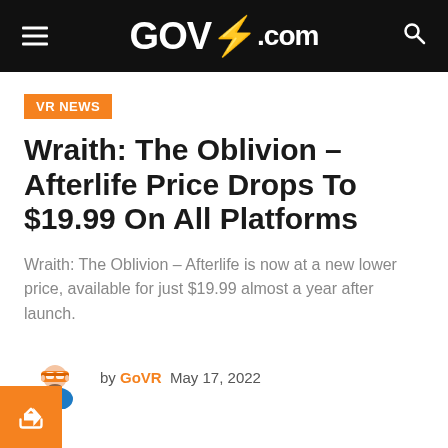GOVR.com
VR NEWS
Wraith: The Oblivion – Afterlife Price Drops To $19.99 On All Platforms
Wraith: The Oblivion – Afterlife is now at a new lower price, available for just $19.99 almost a year after launch.
by GoVR  May 17, 2022